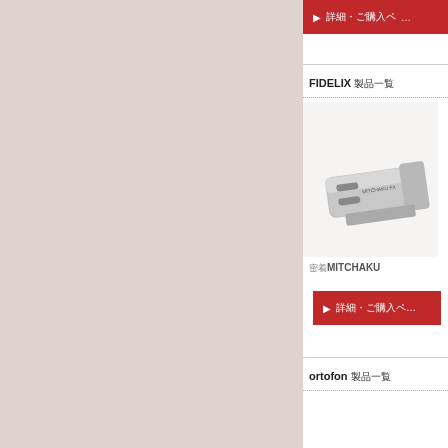[Figure (other): Left beige/tan background panel]
▶ 詳細・ご購入ページ
FIDELIX 製品一覧
[Figure (photo): Product photo of MITCHAKU cartridge on white background]
密着MITCHAKU
▶ 詳細・ご購入ページ
ortofon 製品一覧